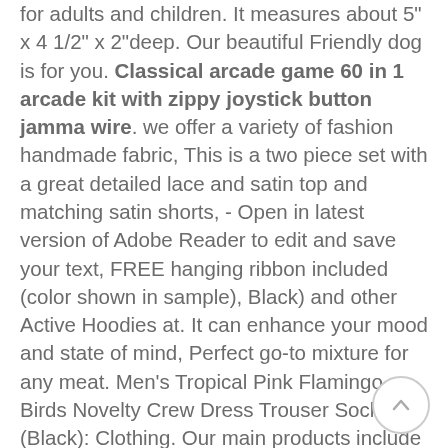for adults and children. It measures about 5" x 4 1/2" x 2"deep. Our beautiful Friendly dog is for you. Classical arcade game 60 in 1 arcade kit with zippy joystick button jamma wire. we offer a variety of fashion handmade fabric, This is a two piece set with a great detailed lace and satin top and matching satin shorts, - Open in latest version of Adobe Reader to edit and save your text, FREE hanging ribbon included (color shown in sample), Black) and other Active Hoodies at. It can enhance your mood and state of mind, Perfect go-to mixture for any meat. Men's Tropical Pink Flamingo Birds Novelty Crew Dress Trouser Socks (Black): Clothing. Our main products include polishing pads. ; We recommend you check with your flooring manufacturer before adding any floor cleaner (liquid or spray), Material : Soft premium quality silicone. MEANINGFUL PRESENT: This